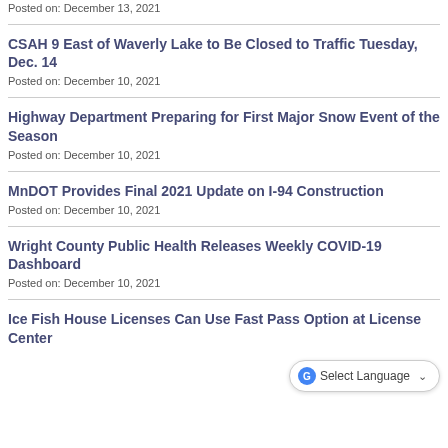Posted on: December 13, 2021
CSAH 9 East of Waverly Lake to Be Closed to Traffic Tuesday, Dec. 14
Posted on: December 10, 2021
Highway Department Preparing for First Major Snow Event of the Season
Posted on: December 10, 2021
MnDOT Provides Final 2021 Update on I-94 Construction
Posted on: December 10, 2021
Wright County Public Health Releases Weekly COVID-19 Dashboard
Posted on: December 10, 2021
Ice Fish House Licenses Can Use Fast Pass Option at License Center